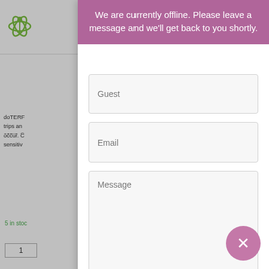[Figure (screenshot): Website page background showing doTERRA product page with logo, navigation hamburger icon, product description text, stock info, quantity input, compare button, SKU/category info, and Description/Reviews tabs]
We are currently offline. Please leave a message and we'll get back to you shortly.
Guest
Email
Message
Send message
SKU: 60200223  Category: DigestZen® Products
Description
Reviews (0)